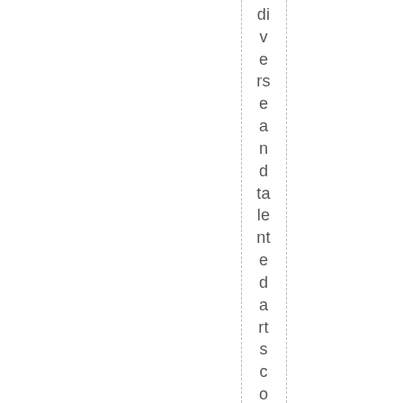diverse and talented arts community too